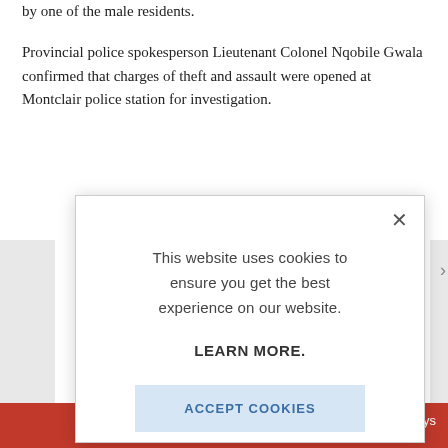by one of the male residents.
Provincial police spokesperson Lieutenant Colonel Nqobile Gwala confirmed that charges of theft and assault were opened at Montclair police station for investigation.
[Figure (screenshot): Cookie consent modal overlay with close button (×), message 'This website uses cookies to ensure you get the best experience on our website.', bold text 'LEARN MORE.', and a light blue 'ACCEPT COOKIES' button.]